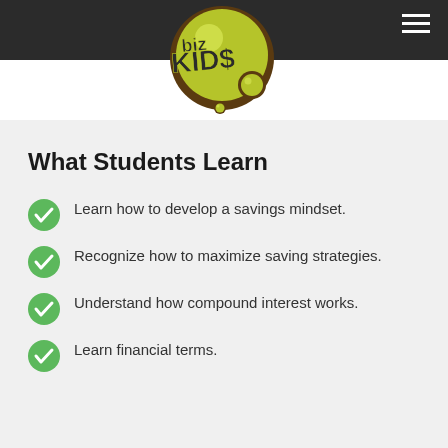[Figure (logo): Biz Kid$ logo - cartoon-style text with green bubble/circle graphic]
eventu… …millions.
What Students Learn
Learn how to develop a savings mindset.
Recognize how to maximize saving strategies.
Understand how compound interest works.
Learn financial terms.